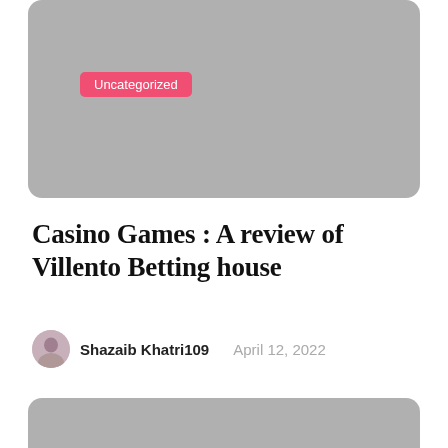[Figure (photo): Gray placeholder image card with rounded corners at top of page]
Uncategorized
Casino Games : A review of Villento Betting house
[Figure (photo): Small circular author avatar photo]
Shazaib Khatri109   April 12, 2022
[Figure (photo): Gray placeholder image card with rounded corners at bottom of page, partially visible]